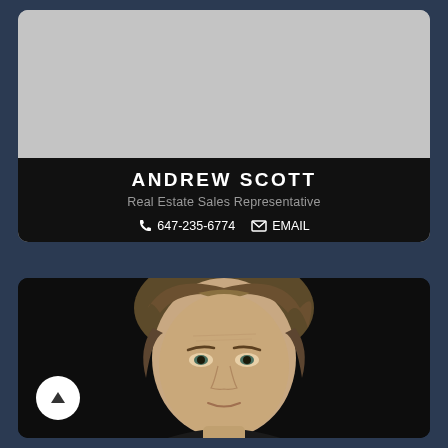[Figure (photo): Gray placeholder image area at top of agent card]
ANDREW SCOTT
Real Estate Sales Representative
647-235-6774  EMAIL
[Figure (photo): Professional headshot photo of Andrew Scott, a man with medium-length blonde/brown hair, against a dark background. A circular scroll-up button with an upward arrow is overlaid at the bottom left.]